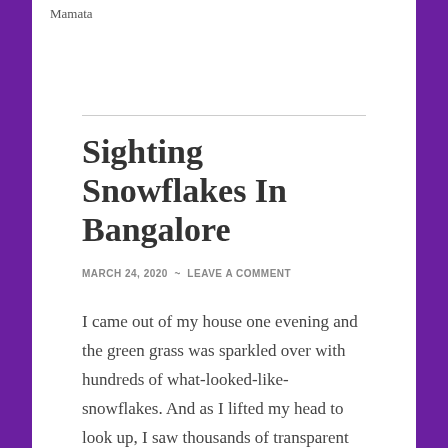Mamata
Sighting Snowflakes In Bangalore
MARCH 24, 2020 ~ LEAVE A COMMENT
I came out of my house one evening and the green grass was sparkled over with hundreds of what-looked-like-snowflakes. And as I lifted my head to look up, I saw thousands of transparent winged seeds snowing down from the trees all around. It was a magical sight.